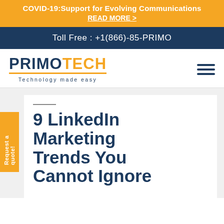COVID-19:Support for Evolving Communications READ MORE >
Toll Free : +1(866)-85-PRIMO
[Figure (logo): PrimoTech logo with tagline 'Technology made easy']
Request a quote!
9 LinkedIn Marketing Trends You Cannot Ignore